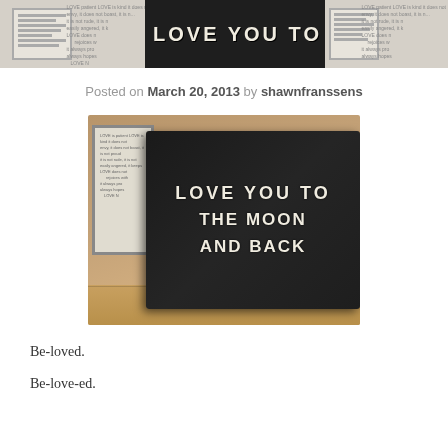[Figure (photo): Header strip showing a black wooden sign reading 'LOVE YOU TO' in white letters, partially cropped, with a framed text artwork visible to the left and repeated on the right side]
Posted on March 20, 2013 by shawnfranssens
[Figure (photo): Photograph of a distressed black wooden sign reading 'LOVE YOU TO THE MOON AND BACK' in white block letters, sitting on a wooden surface with a framed artwork in the background]
Be-loved.
Be-love-ed.